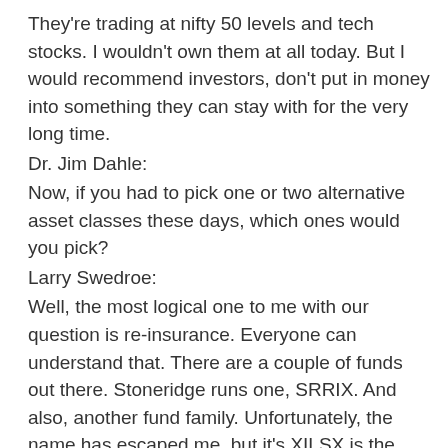They're trading at nifty 50 levels and tech stocks. I wouldn't own them at all today. But I would recommend investors, don't put in money into something they can stay with for the very long time.
Dr. Jim Dahle:
Now, if you had to pick one or two alternative asset classes these days, which ones would you pick?
Larry Swedroe:
Well, the most logical one to me with our question is re-insurance. Everyone can understand that. There are a couple of funds out there. Stoneridge runs one, SRRIX. And also, another fund family. Unfortunately, the name has escaped me, but it's XILSX is the fund. They're both available.
Larry Swedroe:
Warren Buffet owns one of the largest reinsurance companies in the world. People don't write re-insurance without expectation of premiums. And if